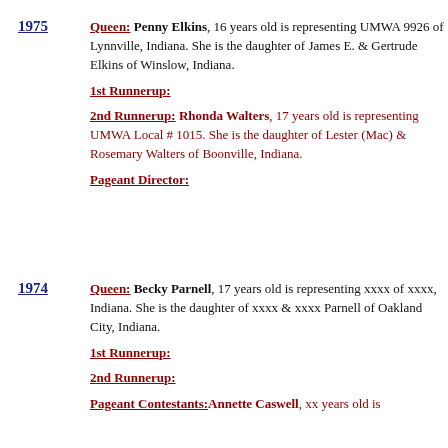1975 Queen: Penny Elkins, 16 years old is representing UMWA 9926 of Lynnville, Indiana. She is the daughter of James E. & Gertrude Elkins of Winslow, Indiana.
1st Runnerup:
2nd Runnerup: Rhonda Walters, 17 years old is representing UMWA Local # 1015. She is the daughter of Lester (Mac) & Rosemary Walters of Boonville, Indiana.
Pageant Director:
1974 Queen: Becky Parnell, 17 years old is representing xxxx of xxxx, Indiana. She is the daughter of xxxx & xxxx Parnell of Oakland City, Indiana.
1st Runnerup:
2nd Runnerup:
Pageant Contestants: Annette Caswell, xx years old is